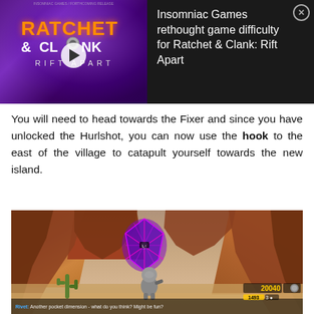[Figure (screenshot): Video advertisement banner for Ratchet & Clank: Rift Apart by Insomniac Games, with thumbnail showing game logo on purple background with play button, and text 'Insomniac Games rethought game difficulty for Ratchet & Clank: Rift Apart' with close button]
You will need to head towards the Fixer and since you have unlocked the Hurlshot, you can now use the hook to the east of the village to catapult yourself towards the new island.
[Figure (screenshot): In-game screenshot from Ratchet & Clank: Rift Apart showing a purple rift/portal with glowing pink crystal lines set between red canyon rock walls, with the character Rivet standing in the foreground on sandy ground with cacti. HUD shows score 20040. Subtitle reads 'Rivet: Another pocket dimension - what do you think? Might be fun?']